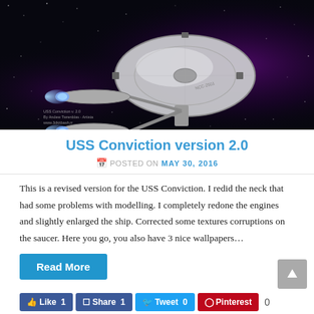[Figure (photo): A 3D render of the USS Conviction starship (version 2.0) set against a dark space background with purple nebula and stars. The ship features a large saucer section with detailed hull markings, a secondary hull, and warp nacelles.]
USS Conviction version 2.0
POSTED ON MAY 30, 2016
This is a revised version for the USS Conviction. I redid the neck that had some problems with modelling. I completely redone the engines and slightly enlarged the ship. Corrected some textures corruptions on the saucer. Here you go, you also have 3 nice wallpapers…
Read More
Like 1  Share 1  Tweet 0  Pinterest  0